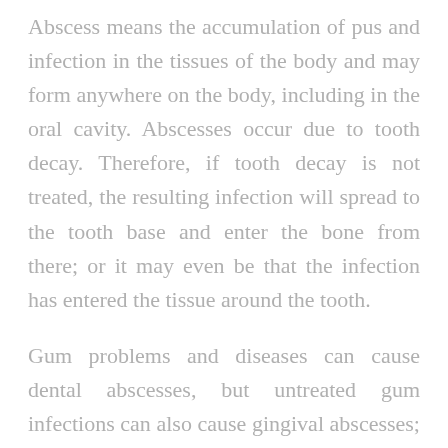Abscess means the accumulation of pus and infection in the tissues of the body and may form anywhere on the body, including in the oral cavity. Abscesses occur due to tooth decay. Therefore, if tooth decay is not treated, the resulting infection will spread to the tooth base and enter the bone from there; or it may even be that the infection has entered the tissue around the tooth.
Gum problems and diseases can cause dental abscesses, but untreated gum infections can also cause gingival abscesses; but abscess diagnosis is